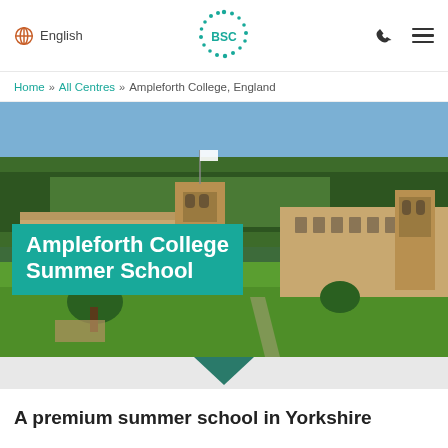English | BSC | phone | menu
Home » All Centres » Ampleforth College, England
[Figure (photo): Aerial/elevated view of Ampleforth College, a large stone building set against a forested hillside with green lawns in the foreground. A flag is visible on a tower.]
Ampleforth College Summer School
A premium summer school in Yorkshire